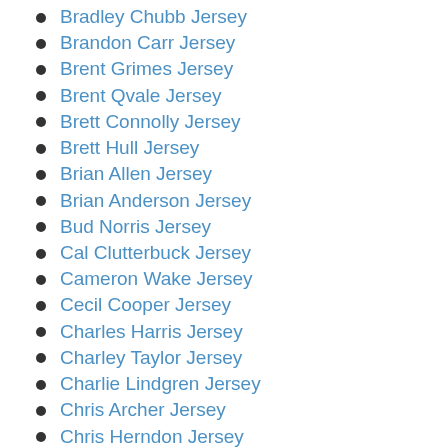Bradley Chubb Jersey
Brandon Carr Jersey
Brent Grimes Jersey
Brent Qvale Jersey
Brett Connolly Jersey
Brett Hull Jersey
Brian Allen Jersey
Brian Anderson Jersey
Bud Norris Jersey
Cal Clutterbuck Jersey
Cameron Wake Jersey
Cecil Cooper Jersey
Charles Harris Jersey
Charley Taylor Jersey
Charlie Lindgren Jersey
Chris Archer Jersey
Chris Herndon Jersey
Chris Thompson Jersey
Christian Covington Jersey
Christian Dvorak Jersey